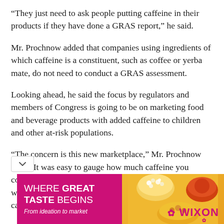“They just need to ask people putting caffeine in their products if they have done a GRAS report,” he said.
Mr. Prochnow added that companies using ingredients of which caffeine is a constituent, such as coffee or yerba mate, do not need to conduct a GRAS assessment.
Looking ahead, he said the focus by regulators and members of Congress is going to be on marketing food and beverage products with added caffeine to children and other at-risk populations.
“The concern is this new marketplace,” Mr. Prochnow said. “It was easy to gauge how much caffeine you consumed from coffees and sodas, but when you look at waffles and snacks, all of a sudden the amount of caffeine can go up.”
[Figure (other): Advertisement banner for Wixon: 'WHERE GREAT TASTE BEGINS, From ideation to market' with pink/magenta background on left and food images on yellow/golden background on right, with Wixon logo.]